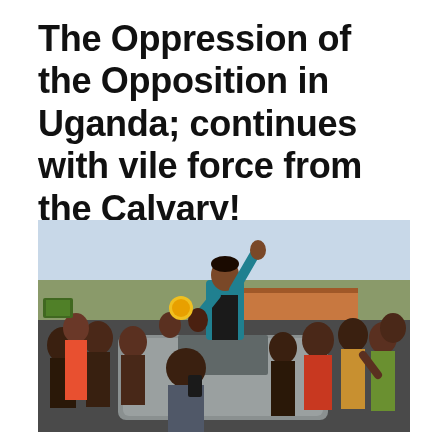The Oppression of the Opposition in Uganda; continues with vile force from the Calvary!
[Figure (photo): A woman in a teal/turquoise cardigan stands through a car sunroof, raising her hand in a gesture to a large crowd of people surrounding the vehicle on a street in Uganda. Many people are photographing her and cheering.]